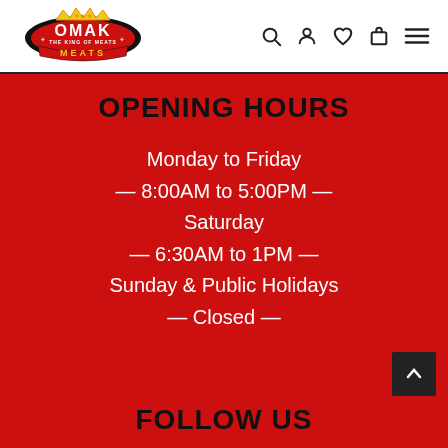[Figure (logo): Omak Meats – The King of Meats logo with crown and banner]
Navigation icons: search, account, wishlist, cart, menu
OPENING HOURS
Monday to Friday
— 8:00AM to 5:00PM —
Saturday
— 6:30AM to 1PM —
Sunday & Public Holidays
— Closed —
FOLLOW US